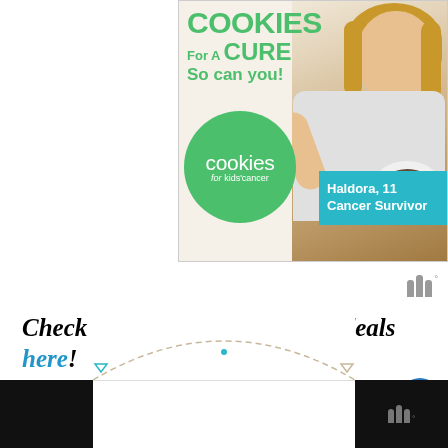[Figure (photo): Advertisement banner for Cookies for Kids' Cancer featuring a smiling blonde girl holding a plate of cookies, with text 'COOKIES For A CURE So can you!' and a green logo circle. A teal box reads 'Haldora, 11 Cancer Survivor'.]
[Figure (logo): Wirecutter logo mark — three vertical bars with superscript degree symbol]
Check out other great Amazon deals here!
[Figure (infographic): Partial arc/circle graphic at the bottom center of the page, partially cropped, with navigation arrows. Bottom left and right corners are black bars containing the Wirecutter logo.]